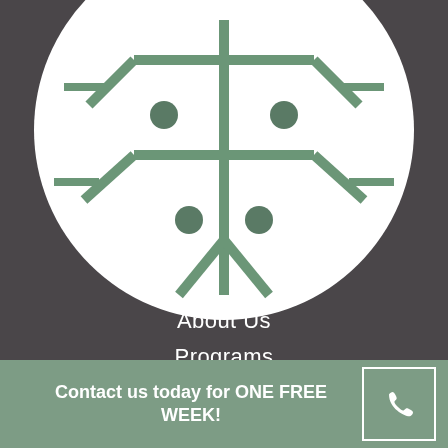[Figure (logo): Circular white logo with a stylized green snowflake/tree circuit board design on dark background]
About Us
Programs
FAQs
Special Offers
Schedule
News
Contact us today for ONE FREE WEEK!